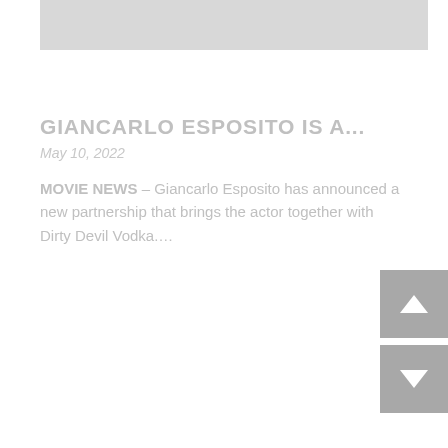[Figure (photo): Partial image visible at the top of the page, grayscale/light colored photo cropped at top edge]
GIANCARLO ESPOSITO IS A...
May 10, 2022
MOVIE NEWS – Giancarlo Esposito has announced a new partnership that brings the actor together with Dirty Devil Vodka….